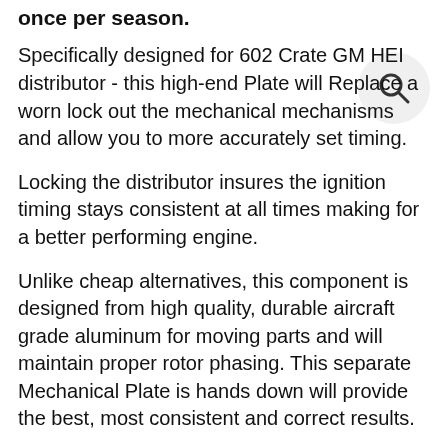once per season.
Specifically designed for 602 Crate GM HEI distributor - this high-end Plate will Replace a worn lock out the mechanical mechanisms and allow you to more accurately set timing.
Locking the distributor insures the ignition timing stays consistent at all times making for a better performing engine.
Unlike cheap alternatives, this component is designed from high quality, durable aircraft grade aluminum for moving parts and will maintain proper rotor phasing. This separate Mechanical Plate is hands down will provide the best, most consistent and correct results.
Some Cheaper lockout plates sometimes require modifications to work properly (like drilling holes which could be off). Some other kits are made of stamped metal which is cheap and soft. They wear out and are inaccurate. Testing showed